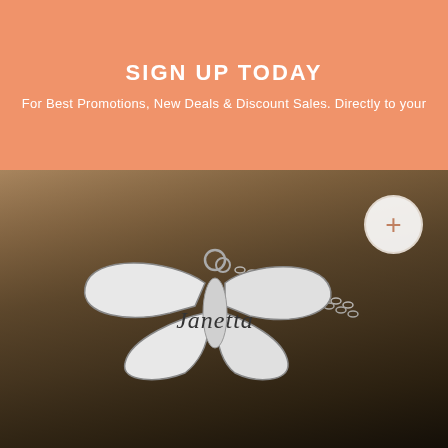SIGN UP TODAY
For Best Promotions, New Deals & Discount Sales. Directly to your
[Figure (photo): A silver butterfly-shaped pendant necklace engraved with the name 'Janetta' in cursive script, lying on a wooden surface. A silver chain is attached to the pendant.]